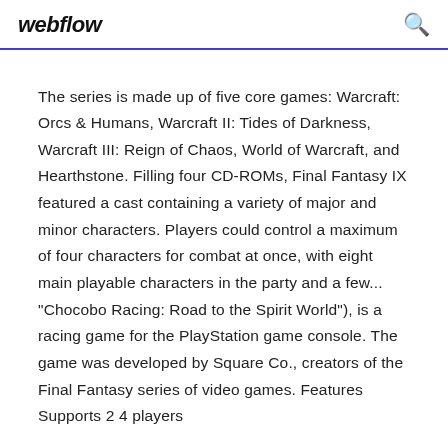webflow
The series is made up of five core games: Warcraft: Orcs & Humans, Warcraft II: Tides of Darkness, Warcraft III: Reign of Chaos, World of Warcraft, and Hearthstone. Filling four CD-ROMs, Final Fantasy IX featured a cast containing a variety of major and minor characters. Players could control a maximum of four characters for combat at once, with eight main playable characters in the party and a few... "Chocobo Racing: Road to the Spirit World"), is a racing game for the PlayStation game console. The game was developed by Square Co., creators of the Final Fantasy series of video games. Features Supports 2 4 players